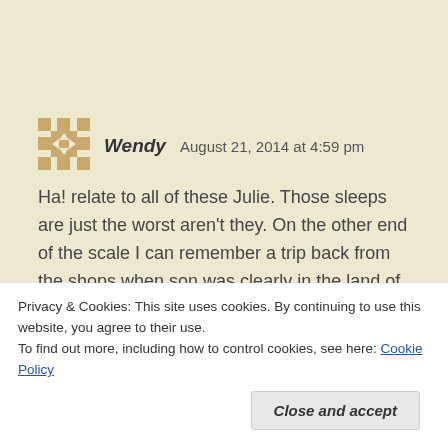[Figure (illustration): Golden/tan colored avatar icon with arrow symbols pointing in four directions (up, down, left, right) arranged in a cross/diamond pattern with small squares at corners]
Wendy   August 21, 2014 at 4:59 pm
Ha! relate to all of these Julie. Those sleeps are just the worst aren't they. On the other end of the scale I can remember a trip back from the shops when son was clearly in the land of nod. However, I drove the extra long way home just to be sure. A voice from the back – why are we going this way home Mum?
Privacy & Cookies: This site uses cookies. By continuing to use this website, you agree to their use.
To find out more, including how to control cookies, see here: Cookie Policy
Close and accept